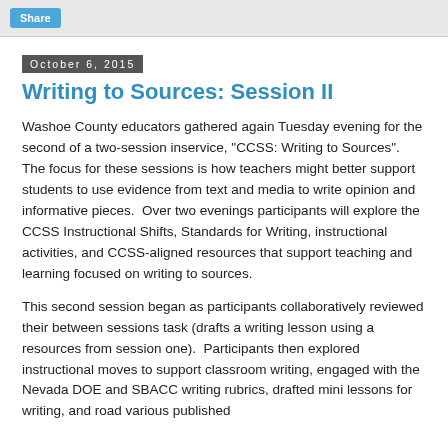Share
October 6, 2015
Writing to Sources: Session II
Washoe County educators gathered again Tuesday evening for the second of a two-session inservice, "CCSS: Writing to Sources". The focus for these sessions is how teachers might better support students to use evidence from text and media to write opinion and informative pieces.  Over two evenings participants will explore the CCSS Instructional Shifts, Standards for Writing, instructional activities, and CCSS-aligned resources that support teaching and learning focused on writing to sources.
This second session began as participants collaboratively reviewed their between sessions task (drafts a writing lesson using a resources from session one).  Participants then explored instructional moves to support classroom writing, engaged with the Nevada DOE and SBACC writing rubrics, drafted mini lessons for writing, and road various published